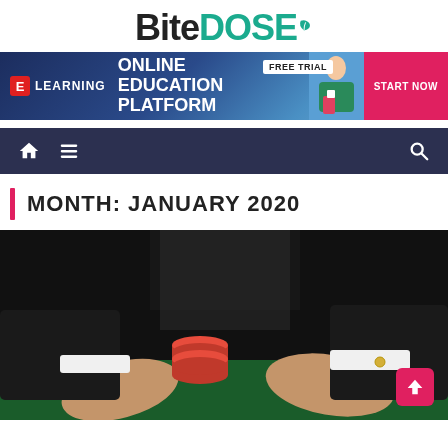BiteDOSE
[Figure (infographic): E-Learning online education platform advertisement banner with blue gradient background, FREE TRIAL label, START NOW button, and photo of a smiling woman holding books]
[Figure (other): Dark navigation bar with home icon, hamburger menu icon, and search icon]
MONTH: JANUARY 2020
[Figure (photo): Close-up photo of a man in a suit with hands sweeping casino poker chips on a green felt table]